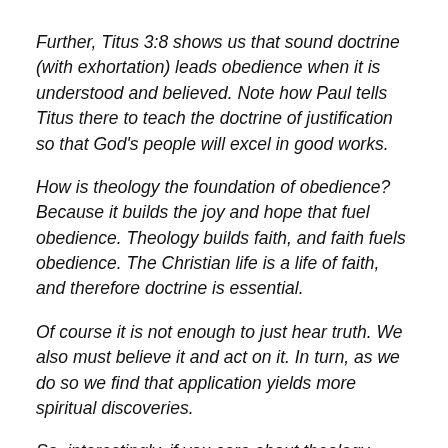Further, Titus 3:8 shows us that sound doctrine (with exhortation) leads obedience when it is understood and believed. Note how Paul tells Titus there to teach the doctrine of justification so that God's people will excel in good works.
How is theology the foundation of obedience? Because it builds the joy and hope that fuel obedience. Theology builds faith, and faith fuels obedience. The Christian life is a life of faith, and therefore doctrine is essential.
Of course it is not enough to just hear truth. We also must believe it and act on it. In turn, as we do so we find that application yields more spiritual discoveries.
So, interestingly, if you care about theology, applying what you learn leads to both love and, in turn, greater